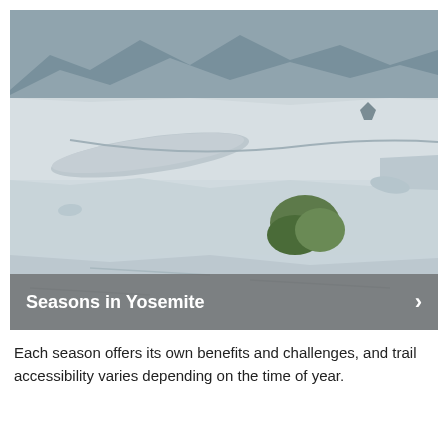[Figure (photo): Aerial view of Yosemite granite rock formations with scrubby alpine vegetation growing in cracks, distant mountain ridges visible in the background under a blue sky. A semi-transparent gray overlay banner at the bottom reads 'Seasons in Yosemite' in bold white text with a right-pointing arrow chevron on the right.]
Each season offers its own benefits and challenges, and trail accessibility varies depending on the time of year.